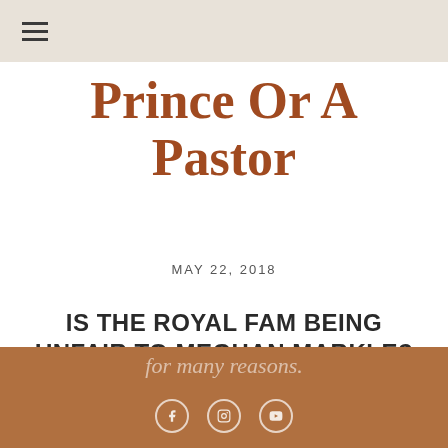≡
Prince Or A Pastor
MAY 22, 2018
IS THE ROYAL FAM BEING UNFAIR TO MEGHAN MARKLE?
Everyone's gushing about the recent Royal Wedding for many reasons.
for many reasons.